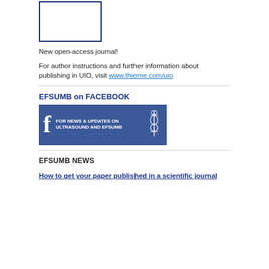[Figure (other): White rectangle with dark navy blue border, representing a journal cover or placeholder image]
New open-access journal!
For author instructions and further information about publishing in UIO, visit www.thieme.com/uio
EFSUMB on FACEBOOK
[Figure (illustration): Facebook banner in blue with white 'f' logo and text: FOR NEWS & UPDATES ON ULTRASOUND AND EFSUMB, with caduceus icon on right]
EFSUMB NEWS
How to get your paper published in a scientific journal